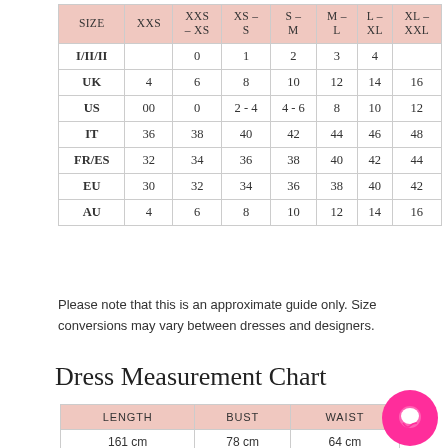| SIZE | XXS | XXS - XS | XS - S | S - M | M - L | L - XL | XL - XXL |
| --- | --- | --- | --- | --- | --- | --- | --- |
| I/II/II |  | 0 | 1 | 2 | 3 | 4 |  |
| UK | 4 | 6 | 8 | 10 | 12 | 14 | 16 |
| US | 00 | 0 | 2 - 4 | 4 - 6 | 8 | 10 | 12 |
| IT | 36 | 38 | 40 | 42 | 44 | 46 | 48 |
| FR/ES | 32 | 34 | 36 | 38 | 40 | 42 | 44 |
| EU | 30 | 32 | 34 | 36 | 38 | 40 | 42 |
| AU | 4 | 6 | 8 | 10 | 12 | 14 | 16 |
Please note that this is an approximate guide only. Size conversions may vary between dresses and designers.
Dress Measurement Chart
| LENGTH | BUST | WAIST |
| --- | --- | --- |
| 161 cm | 78 cm | 64 cm |